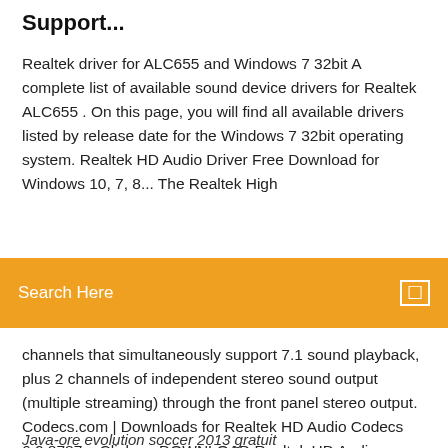Support...
Realtek driver for ALC655 and Windows 7 32bit A complete list of available sound device drivers for Realtek ALC655 . On this page, you will find all available drivers listed by release date for the Windows 7 32bit operating system. Realtek HD Audio Driver Free Download for Windows 10, 7, 8... The Realtek High
[Figure (other): Orange search bar overlay with text 'Search Here' and a search icon on the right]
channels that simultaneously support 7.1 sound playback, plus 2 channels of independent stereo sound output (multiple streaming) through the front panel stereo output. Codecs.com | Downloads for Realtek HD Audio Codecs 6.0.8787 o Click on DOWNLOAD Realtek HD Audio Codecs... for the file that you want to download. When your browser asks you what to do with the downloaded file, select "Save" (your browser's wording may vary) and pick an appropriate folder.
Java-ore evolution soccer 2013 gratuit